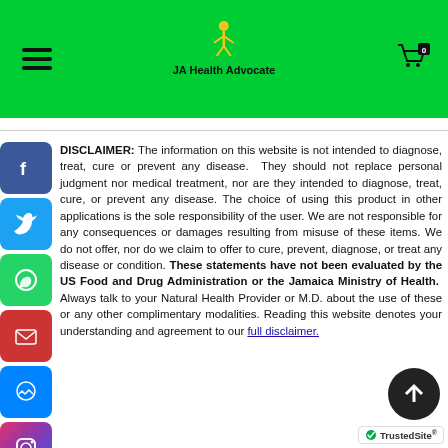JA Health Advocate
[Figure (screenshot): Social media share buttons: Facebook, Twitter, WhatsApp, Email, Messenger, Instagram, More]
DISCLAIMER: The information on this website is not intended to diagnose, treat, cure or prevent any disease. They should not replace personal judgment nor medical treatment, nor are they intended to diagnose, treat, cure, or prevent any disease. The choice of using this product in other applications is the sole responsibility of the user. We are not responsible for any consequences or damages resulting from misuse of these items. We do not offer, nor do we claim to offer to cure, prevent, diagnose, or treat any disease or condition. These statements have not been evaluated by the US Food and Drug Administration or the Jamaica Ministry of Health. Always talk to your Natural Health Provider or M.D. about the use of these or any other complimentary modalities. Reading this website denotes your understanding and agreement to our full disclaimer.
[Figure (logo): TrustedSite badge]